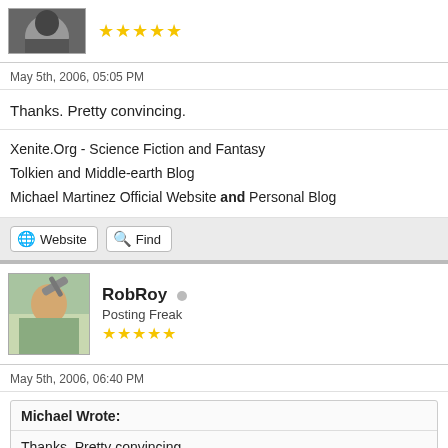[Figure (photo): Top of page: partial avatar image (dark hair, person) with 5 gold stars rating below]
May 5th, 2006, 05:05 PM
Thanks. Pretty convincing.
Xenite.Org - Science Fiction and Fantasy
Tolkien and Middle-earth Blog
Michael Martinez Official Website and Personal Blog
Website   Find
[Figure (photo): Avatar of RobRoy: man holding weapon aloft, painted illustration style]
RobRoy
Posting Freak
★★★★★
May 5th, 2006, 06:40 PM
Michael Wrote:
Thanks. Pretty convincing.